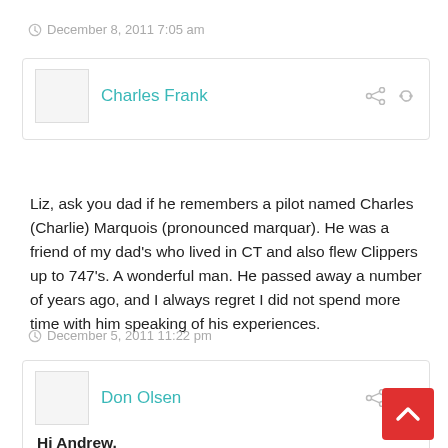December 8, 2011 7:05 am
Charles Frank
Liz, ask you dad if he remembers a pilot named Charles (Charlie) Marquois (pronounced marquar). He was a friend of my dad's who lived in CT and also flew Clippers up to 747's. A wonderful man. He passed away a number of years ago, and I always regret I did not spend more time with him speaking of his experiences.
December 5, 2011 11:22 pm
Don Olsen
Hi Andrew,